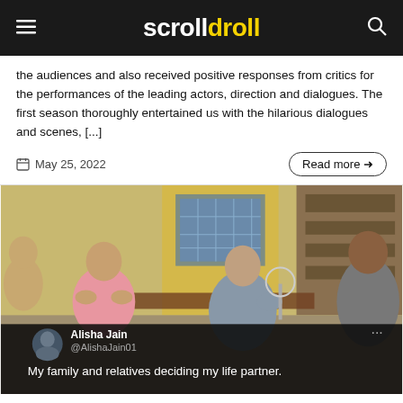scrolldroll
the audiences and also received positive responses from critics for the performances of the leading actors, direction and dialogues. The first season thoroughly entertained us with the hilarious dialogues and scenes, [...]
May 25, 2022  Read more →
[Figure (photo): A still from an Indian web series showing several men sitting in what appears to be a police station or office. A tweet overlay at the bottom reads: Alisha Jain @AlishaJain01 — My family and relatives deciding my life partner.]